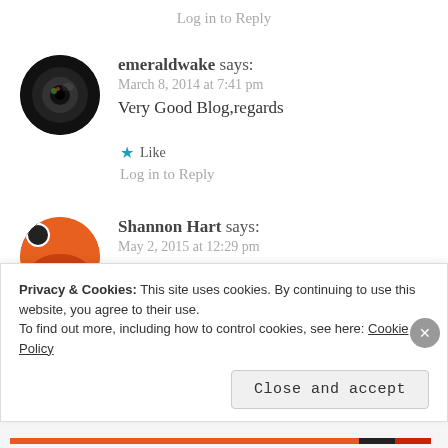Log in to Reply
[Figure (photo): Circular avatar photo of a camera lens close-up, dark tones]
emeraldwake says:
March 8, 2014 at 7:41 pm
Very Good Blog,regards
★ Like
Log in to Reply
[Figure (photo): Circular avatar photo with sunset/orange sky scene, with a star badge overlay]
Shannon Hart says:
May 2, 2015 at 12:29 pm
Privacy & Cookies: This site uses cookies. By continuing to use this website, you agree to their use.
To find out more, including how to control cookies, see here: Cookie Policy
Close and accept